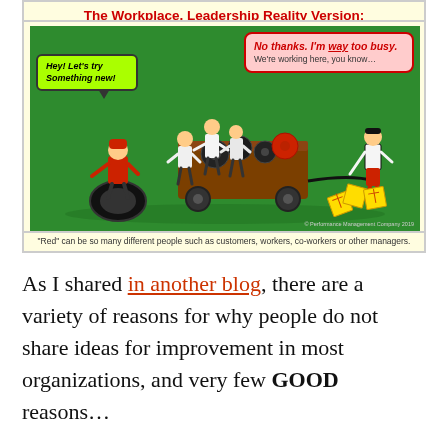The Workplace, Leadership Reality Version:
[Figure (illustration): Lego figures scene on green background. A red-helmeted figure on the left has a green speech bubble saying 'Hey! Let's try Something new!' A pink speech bubble on the right says 'No thanks. I'm way too busy. We're working here, you know...' Several white-suited Lego figures push a brown cart with gears. A black-and-white figure pulls a rope on the right. Yellow square tiles on ground. Copyright Performance Management Company 2019.]
"Red" can be so many different people such as customers, workers, co-workers or other managers.
As I shared in another blog, there are a variety of reasons for why people do not share ideas for improvement in most organizations, and very few GOOD reasons…